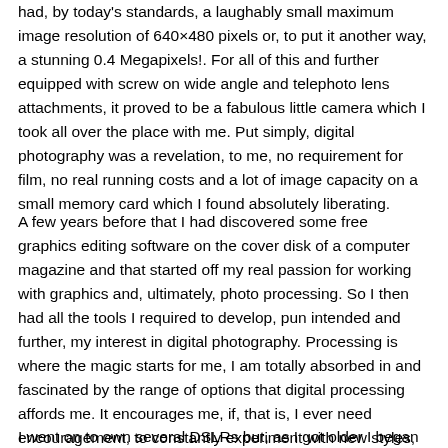had, by today's standards, a laughably small maximum image resolution of 640×480 pixels or, to put it another way, a stunning 0.4 Megapixels!. For all of this and further equipped with screw on wide angle and telephoto lens attachments, it proved to be a fabulous little camera which I took all over the place with me. Put simply, digital photography was a revelation, to me, no requirement for film, no real running costs and a lot of image capacity on a small memory card which I found absolutely liberating.
A few years before that I had discovered some free graphics editing software on the cover disk of a computer magazine and that started off my real passion for working with graphics and, ultimately, photo processing. So I then had all the tools I required to develop, pun intended and further, my interest in digital photography. Processing is where the magic starts for me, I am totally absorbed in and fascinated by the range of options that digital processing affords me. It encourages me, if, that is, I ever need encouragement, to constantly experiment with new styles, new techniques and is such an important part of my enjoyment and interest in photography.
I went on to own several DSLRs but, as I got older I began to find that